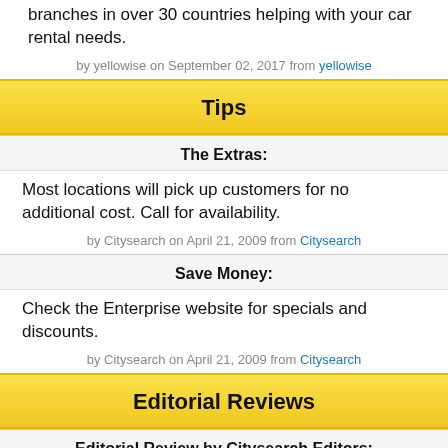branches in over 30 countries helping with your car rental needs.
by yellowise on September 02, 2017 from yellowise
Tips
The Extras:
Most locations will pick up customers for no additional cost. Call for availability.
by Citysearch on April 21, 2009 from Citysearch
Save Money:
Check the Enterprise website for specials and discounts.
by Citysearch on April 21, 2009 from Citysearch
Editorial Reviews
Editorial Review by Citysearch Editors:
North America's largest rental car company boasts a fleet of more than 500,000 vehicles, including 120 different models. Long-term rentals are available.
by by Contributor at Citysearch on August 21, 2008 from Citysearch